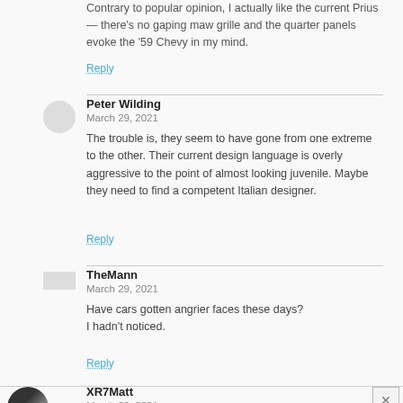Contrary to popular opinion, I actually like the current Prius — there's no gaping maw grille and the quarter panels evoke the '59 Chevy in my mind.
Reply
Peter Wilding
March 29, 2021
The trouble is, they seem to have gone from one extreme to the other. Their current design language is overly aggressive to the point of almost looking juvenile. Maybe they need to find a competent Italian designer.
Reply
TheMann
March 29, 2021
Have cars gotten angrier faces these days?
I hadn't noticed.
Reply
XR7Matt
March 29, 2021
The thing that bothers me more than anything outside is what I noticed inside in a rental one is there is this glare inducing super glossy plastic black accent around and below